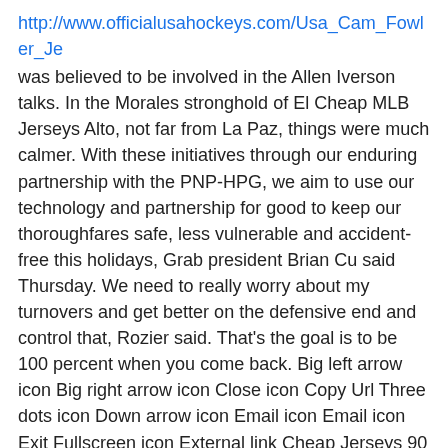http://www.officialusahockeys.com/Usa_Cam_Fowler_Je was believed to be involved in the Allen Iverson talks. In the Morales stronghold of El Cheap MLB Jerseys Alto, not far from La Paz, things were much calmer. With these initiatives through our enduring partnership with the PNP-HPG, we aim to use our technology and partnership for good to keep our thoroughfares safe, less vulnerable and accident-free this holidays, Grab president Brian Cu said Thursday. We need to really worry about my turnovers and get better on the defensive end and control that, Rozier said. That's the goal is to be 100 percent when you come back. Big left arrow icon Big right arrow icon Close icon Copy Url Three dots icon Down arrow icon Email icon Email icon Exit Fullscreen icon External link Cheap Jerseys 90 icon Facebook logo Football icon Facebook NHL Jerseys Cheap logo Instagram logo Snapchat logo YouTube logo Grid icon Key icon Left arrow icon Link icon